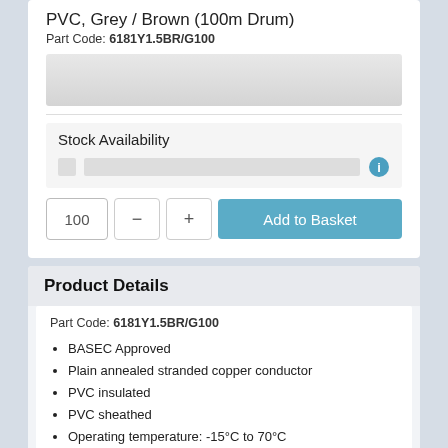PVC, Grey / Brown (100m Drum)
Part Code: 6181Y1.5BR/G100
[Figure (other): Product image placeholder - grey gradient rectangle]
Stock Availability
[Figure (screenshot): Stock availability row with checkbox, grey bar, and info icon]
100 - + Add to Basket
Product Details
Part Code: 6181Y1.5BR/G100
BASEC Approved
Plain annealed stranded copper conductor
PVC insulated
PVC sheathed
Operating temperature: -15°C to 70°C
Minimum bending radius: 6 x C...